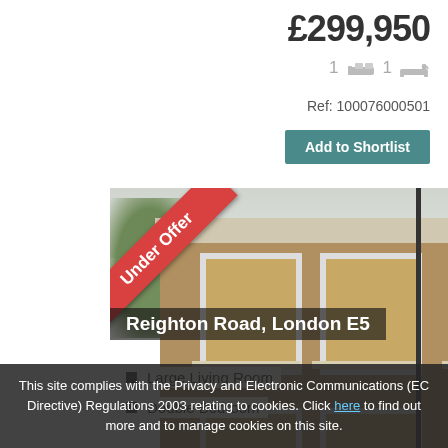£299,950
1 [bed icon] 1 [bath icon]
Ref: 100076000501
Add to Shortlist
[Figure (photo): Front exterior photo of a two-storey Victorian terraced brick house with 'Under Offer' ribbon banner in top-left corner. Multiple sash windows visible on both floors.]
Reighton Road, London E5
Large Living Room
Double Bedroom
This site complies with the Privacy and Electronic Communications (EC Directive) Regulations 2003 relating to cookies. Click here to find out more and to manage cookies on this site.